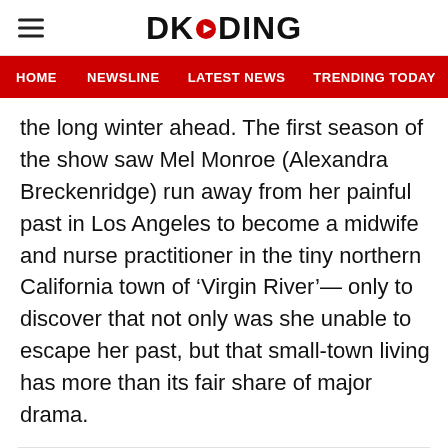DKODING
HOME | NEWSLINE | LATEST NEWS | TRENDING TODAY | ENT
the long winter ahead. The first season of the show saw Mel Monroe (Alexandra Breckenridge) run away from her painful past in Los Angeles to become a midwife and nurse practitioner in the tiny northern California town of ‘Virgin River’— only to discover that not only was she unable to escape her past, but that small-town living has more than its fair share of major drama.
ADVERTISEMENT